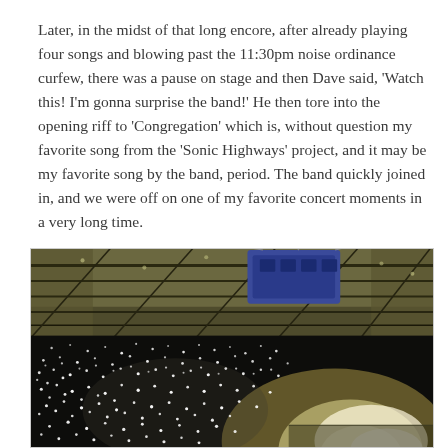Later, in the midst of that long encore, after already playing four songs and blowing past the 11:30pm noise ordinance curfew, there was a pause on stage and then Dave said, 'Watch this! I'm gonna surprise the band!' He then tore into the opening riff to 'Congregation' which is, without question my favorite song from the 'Sonic Highways' project, and it may be my favorite song by the band, period. The band quickly joined in, and we were off on one of my favorite concert moments in a very long time.
[Figure (photo): Concert arena photo showing a large indoor venue with arena ceiling trusses and a lighting rig overhead. The crowd below is illuminated by thousands of phone/lighter lights creating a sea of white dots across the dark arena floor. A bright stage glow emanates from the right side.]